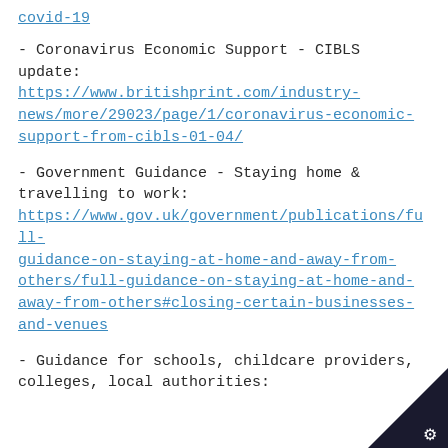covid-19
- Coronavirus Economic Support - CIBLS update: https://www.britishprint.com/industry-news/more/29023/page/1/coronavirus-economic-support-from-cibls-01-04/
- Government Guidance - Staying home & travelling to work: https://www.gov.uk/government/publications/full-guidance-on-staying-at-home-and-away-from-others/full-guidance-on-staying-at-home-and-away-from-others#closing-certain-businesses-and-venues
- Guidance for schools, childcare providers, colleges, local authorities: